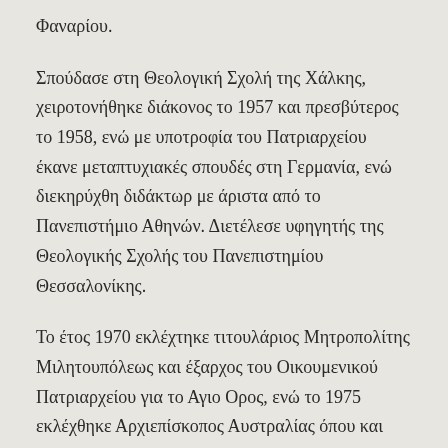Φαναρίου.
Σπούδασε στη Θεολογική Σχολή της Χάλκης, χειροτονήθηκε διάκονος το 1957 και πρεσβύτερος το 1958, ενώ με υποτροφία του Πατριαρχείου έκανε μεταπτυχιακές σπουδές στη Γερμανία, ενώ διεκηρύχθη διδάκτωρ με άριστα από το Πανεπιστήμιο Αθηνών. Διετέλεσε υφηγητής της Θεολογικής Σχολής του Πανεπιστημίου Θεσσαλονίκης.
Το έτος 1970 εκλέχτηκε τιτουλάριος Μητροπολίτης Μιλητουπόλεως και έξαρχος του Οικουμενικού Πατριαρχείου για το Αγιο Ορος, ενώ το 1975 εκλέχθηκε Αρχιεπίσκοπος Αυστραλίας όπου και υπηρετεί μέχρι σήμερα.